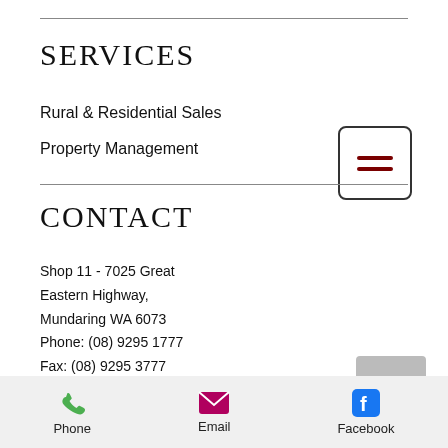SERVICES
Rural & Residential Sales
Property Management
CONTACT
Shop 11 - 7025 Great Eastern Highway, Mundaring WA 6073
Phone: (08) 9295 1777
Fax: (08) 9295 3777
Email: christie@ii.net
Phone  Email  Facebook